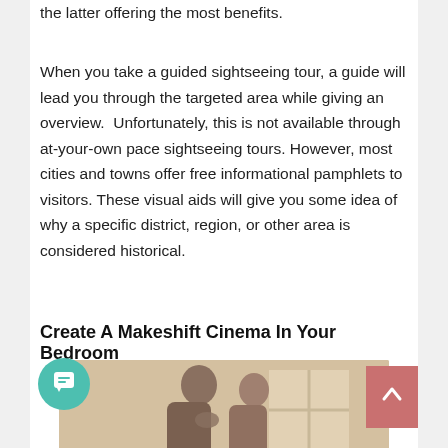the latter offering the most benefits.
When you take a guided sightseeing tour, a guide will lead you through the targeted area while giving an overview.  Unfortunately, this is not available through at-your-own pace sightseeing tours. However, most cities and towns offer free informational pamphlets to visitors. These visual aids will give you some idea of why a specific district, region, or other area is considered historical.
Create A Makeshift Cinema In Your Bedroom
[Figure (photo): A couple in an intimate embrace or kiss, photographed from behind/side, in warm tan/sepia tones suggesting a bedroom setting.]